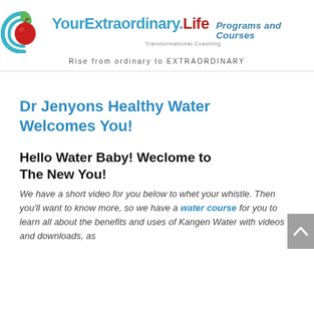[Figure (logo): YourExtraordinary.Life logo with circular icon containing apple, teal swoosh, and text 'Programs and Courses'. Tagline: Rise from ordinary to EXTRAORDINARY]
Dr Jenyons Healthy Water Welcomes You!
Hello Water Baby! Weclome to The New You!
We have a short video for you below to whet your whistle. Then you'll want to know more, so we have a water course for you to learn all about the benefits and uses of Kangen Water with videos and downloads, as